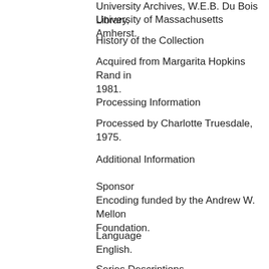University Archives, W.E.B. Du Bois Library, University of Massachusetts Amherst.
History of the Collection
Acquired from Margarita Hopkins Rand in 1981.
Processing Information
Processed by Charlotte Truesdale, 1975.
Additional Information
Sponsor
Encoding funded by the Andrew W. Mellon Foundation.
Language
English.
Series Descriptions